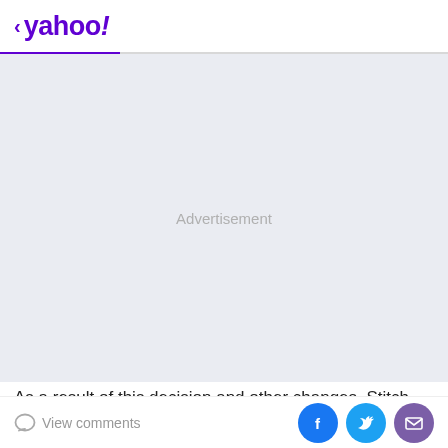< yahoo!
[Figure (other): Advertisement placeholder area with light gray background and centered 'Advertisement' text]
As a result of this decision and other changes, Stitch Fix expects annual cost savings of $40 million to $60 million
View comments | Facebook share | Twitter share | Email share